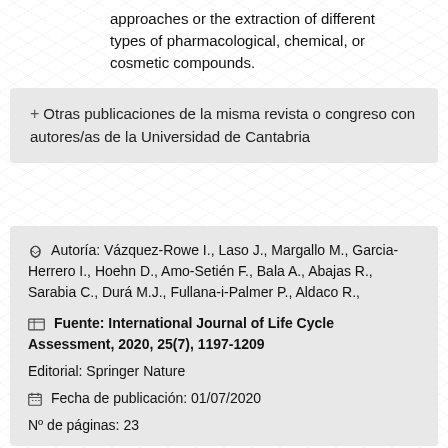approaches or the extraction of different types of pharmacological, chemical, or cosmetic compounds.
+ Otras publicaciones de la misma revista o congreso con autores/as de la Universidad de Cantabria
Autoría: Vázquez-Rowe I., Laso J., Margallo M., Garcia-Herrero I., Hoehn D., Amo-Setién F., Bala A., Abajas R., Sarabia C., Durá M.J., Fullana-i-Palmer P., Aldaco R.,
Fuente: International Journal of Life Cycle Assessment, 2020, 25(7), 1197-1209
Editorial: Springer Nature
Fecha de publicación: 01/07/2020
Nº de páginas: 23